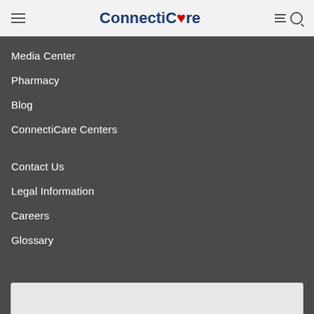ConnectiCare
Media Center
Pharmacy
Blog
ConnectiCare Centers
Contact Us
Legal Information
Careers
Glossary